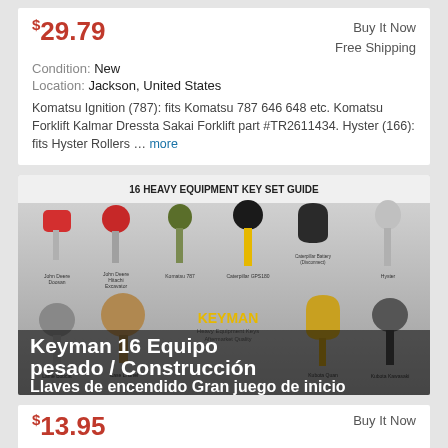$29.79 | Buy It Now | Free Shipping | Condition: New | Location: Jackson, United States | Komatsu Ignition (787): fits Komatsu 787 646 648 etc. Komatsu Forklift Kalmar Dressta Sakai Forklift part #TR2611434. Hyster (166): fits Hyster Rollers ... more
[Figure (photo): 16 Heavy Equipment Key Set Guide showing various ignition keys labeled: John Deere Doosan, John Deere Hitachi Excavator, Komatsu 787, Caterpillar GPS180, Caterpillar Battery Disconnect, Hyster, Lame Bobcat, Case Li Brief, Kubota Quan, Kubota Kawasaki, Futonic, others. Keyman logo visible. Overlay text: Keyman 16 Equipo pesado / Construcción Llaves de encendido Gran juego de inicio]
$13.95 | Buy It Now